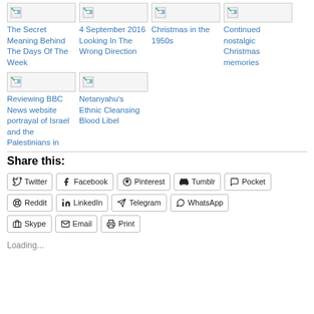[Figure (screenshot): Article card with broken image placeholder - The Secret Meaning Behind The Days Of The Week]
[Figure (screenshot): Article card with broken image placeholder - 4 September 2016 Looking In The Wrong Direction]
[Figure (screenshot): Article card with broken image placeholder - Christmas in the 1950s]
[Figure (screenshot): Article card with broken image placeholder - Continued nostalgic Christmas memories]
[Figure (screenshot): Article card with broken image placeholder - Reviewing BBC News website portrayal of Israel and the Palestinians in]
[Figure (screenshot): Article card with broken image placeholder - Netanyahu's Ethnic Cleansing Blood Libel]
Share this:
Twitter Facebook Pinterest Tumblr Pocket Reddit LinkedIn Telegram WhatsApp Skype Email Print
Loading...